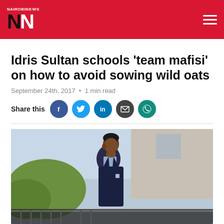NAIROBI NEWS NN
Idris Sultan schools 'team mafisi' on how to avoid sowing wild oats
September 24th, 2017 · 1 min read
Share this [Facebook] [Twitter] [LinkedIn] [Email] [WhatsApp]
[Figure (photo): Idris Sultan, a young man wearing a navy blue blazer over a light blue shirt, posed outdoors with a building and greenery in the background.]